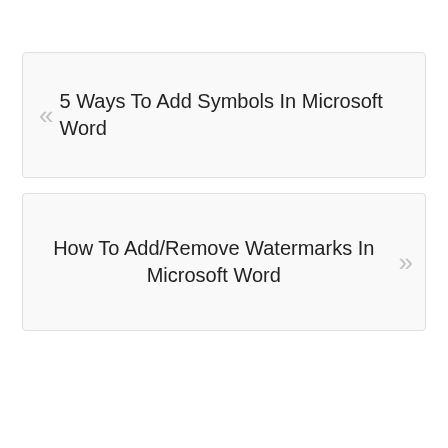« 5 Ways To Add Symbols In Microsoft Word
How To Add/Remove Watermarks In Microsoft Word »